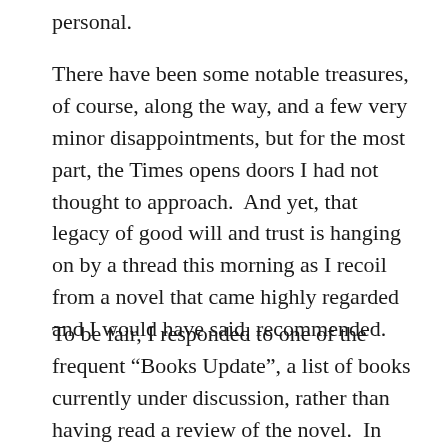personal.
There have been some notable treasures, of course, along the way, and a few very minor disappointments, but for the most part, the Times opens doors I had not thought to approach.  And yet, that legacy of good will and trust is hanging on by a thread this morning as I recoil from a novel that came highly regarded and I would have said, recommended.
To be fair, I responded to one of the frequent “Books Update”, a list of books currently under discussion, rather than having read a review of the novel.  In the past it’s worked out well;  I’ve simply noted a title, opened my account at the local library, and jumped on the waiting list for the next hot copy.  Some have been my sort of book, others